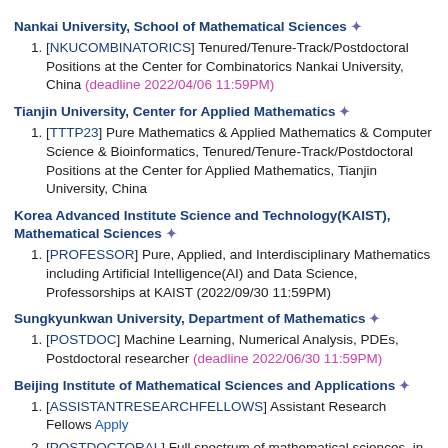Nankai University, School of Mathematical Sciences ✦
[NKUCOMBINATORICS] Tenured/Tenure-Track/Postdoctoral Positions at the Center for Combinatorics Nankai University, China (deadline 2022/04/06 11:59PM)
Tianjin University, Center for Applied Mathematics ✦
[TTTP23] Pure Mathematics & Applied Mathematics & Computer Science & Bioinformatics, Tenured/Tenure-Track/Postdoctoral Positions at the Center for Applied Mathematics, Tianjin University, China
Korea Advanced Institute Science and Technology(KAIST), Mathematical Sciences ✦
[PROFESSOR] Pure, Applied, and Interdisciplinary Mathematics including Artificial Intelligence(AI) and Data Science, Professorships at KAIST (2022/09/30 11:59PM)
Sungkyunkwan University, Department of Mathematics ✦
[POSTDOC] Machine Learning, Numerical Analysis, PDEs, Postdoctoral researcher (deadline 2022/06/30 11:59PM)
Beijing Institute of Mathematical Sciences and Applications ✦
[ASSISTANTRESEARCHFELLOWS] Assistant Research Fellows Apply
[POSTDOCTORAL] Full spectrum of mathematical sciences, in both theoretical and applied areas, Postdoctoral positions in the